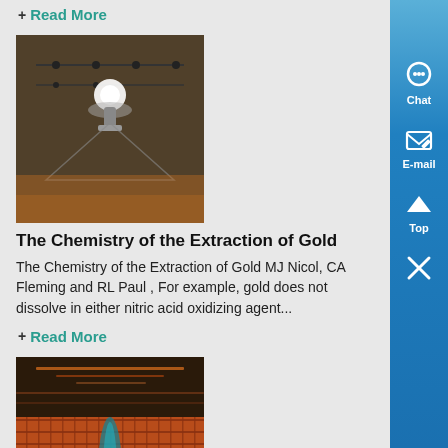+ Read More
[Figure (photo): Indoor laboratory or industrial equipment photo with bright light source visible, dark metallic background]
The Chemistry of the Extraction of Gold
The Chemistry of the Extraction of Gold MJ Nicol, CA Fleming and RL Paul , For example, gold does not dissolve in either nitric acid oxidizing agent...
+ Read More
[Figure (photo): Aerial or close-up view of copper mining or processing facility showing rows of copper sheets or electrodes with blue/teal liquid]
Source Chloroacetic Acid Formats for Projects: Phone...